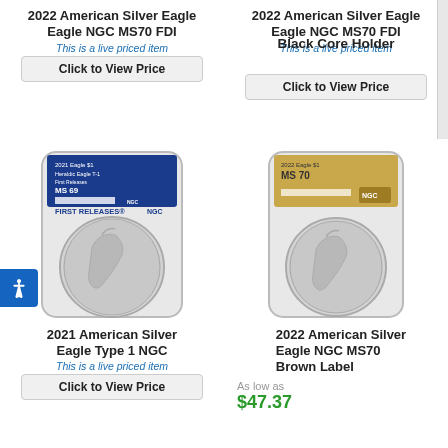2022 American Silver Eagle NGC MS70 FDI
This is a live priced item
Click to View Price
2022 American Silver Eagle NGC MS70 FDI Black Core Holder
This is a live priced item
Click to View Price
[Figure (photo): 2021 American Silver Eagle NGC MS70 Type 1 coin in First Releases NGC slab with blue label]
2021 American Silver Eagle Type 1 NGC
This is a live priced item
Click to View Price
[Figure (photo): 2022 American Silver Eagle NGC MS70 coin in brown label NGC slab]
2022 American Silver Eagle NGC MS70 Brown Label
As low as
$47.37